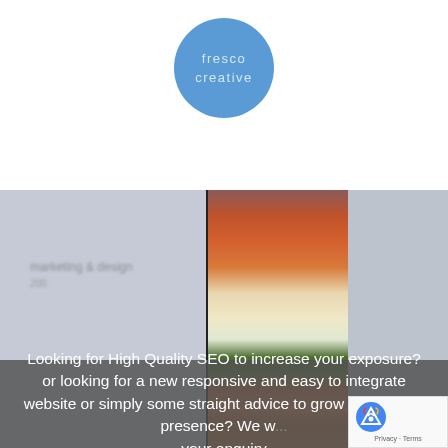[Figure (logo): Fresco Creative logo — blue circle with white text reading 'fresco creative' in spaced lowercase letters]
[Figure (photo): A composite background image: left side is a muted blue-grey out-of-focus surface with faint blurry text; right side shows a book spine next to a photograph of rows of colorful flowers (orange, white, green tulips or similar) in a garden]
Looking for High Quality SEO to increase your exposure? or looking for a new responsive and easy to integrate website or simply some straight advice to grow your online presence? We w... your enquiry